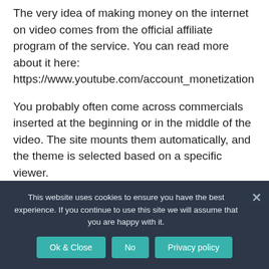The very idea of making money on the internet on video comes from the official affiliate program of the service. You can read more about it here: https://www.youtube.com/account_monetization
You probably often come across commercials inserted at the beginning or in the middle of the video. The site mounts them automatically, and the theme is selected based on a specific viewer.
The idea of such a business is that you get a reward for every click on this ad. Cost per click varies
This website uses cookies to ensure you have the best experience. If you continue to use this site we will assume that you are happy with it.